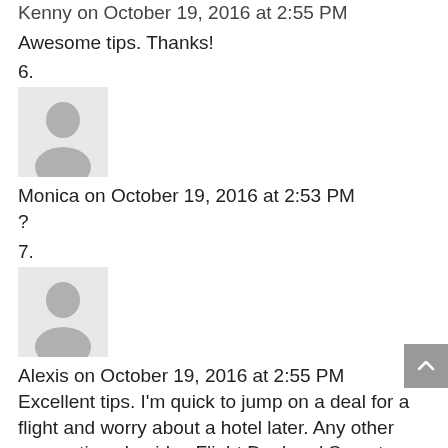Kenny on October 19, 2016 at 2:55 PM
Awesome tips. Thanks!
6.
[Figure (illustration): Default avatar placeholder image - grey silhouette of a person on light grey background]
Monica on October 19, 2016 at 2:53 PM
?
7.
[Figure (illustration): Default avatar placeholder image - grey silhouette of a person on light grey background]
Alexis on October 19, 2016 at 2:55 PM
Excellent tips. I'm quick to jump on a deal for a flight and worry about a hotel later. Any other suggestions besides Flight Deal and Secret Flying??